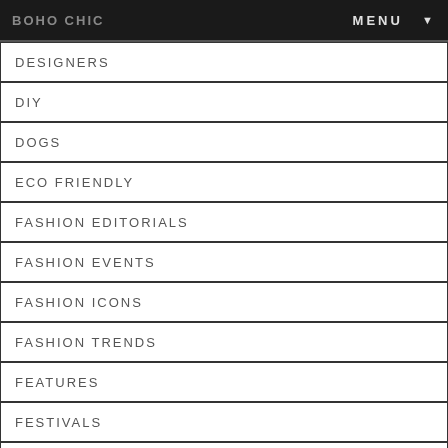BOHO CHIC  MENU ▼
DESIGNERS
DIY
DOGS
ECO FRIENDLY
FASHION EDITORIALS
FASHION EVENTS
FASHION ICONS
FASHION TRENDS
FEATURES
FESTIVALS
FILMS